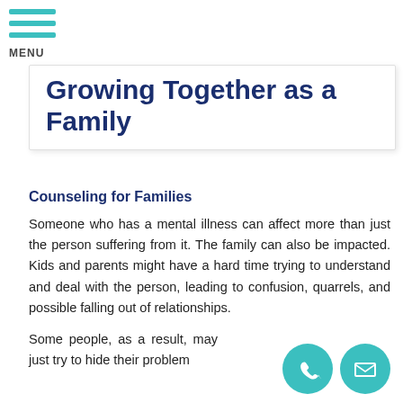MENU
Growing Together as a Family
Counseling for Families
Someone who has a mental illness can affect more than just the person suffering from it. The family can also be impacted. Kids and parents might have a hard time trying to understand and deal with the person, leading to confusion, quarrels, and possible falling out of relationships.
Some people, as a result, may just try to hide their problem